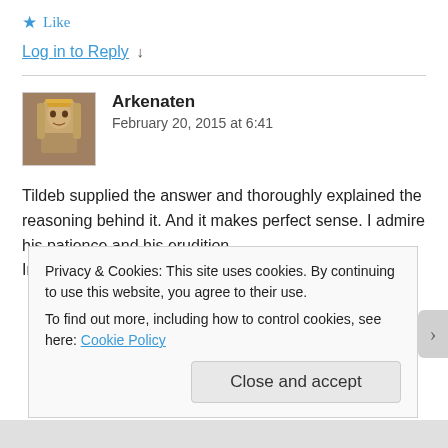★ Like
Log in to Reply ↓
Arkenaten
February 20, 2015 at 6:41
[Figure (photo): User avatar showing an Egyptian pharaoh figure]
Tildeb supplied the answer and thoroughly explained the reasoning behind it. And it makes perfect sense. I admire his patience and his erudition.
In a nutshell:
Privacy & Cookies: This site uses cookies. By continuing to use this website, you agree to their use.
To find out more, including how to control cookies, see here: Cookie Policy
Close and accept